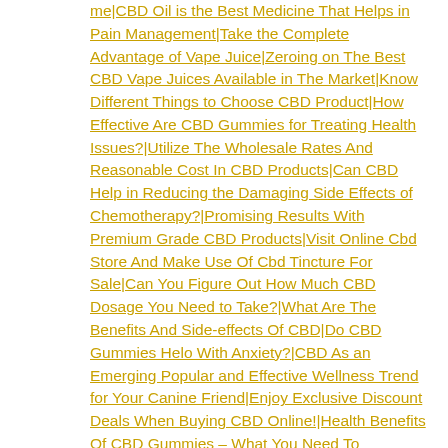me|CBD Oil is the Best Medicine That Helps in Pain Management|Take the Complete Advantage of Vape Juice|Zeroing on The Best CBD Vape Juices Available in The Market|Know Different Things to Choose CBD Product|How Effective Are CBD Gummies for Treating Health Issues?|Utilize The Wholesale Rates And Reasonable Cost In CBD Products|Can CBD Help in Reducing the Damaging Side Effects of Chemotherapy?|Promising Results With Premium Grade CBD Products|Visit Online Cbd Store And Make Use Of Cbd Tincture For Sale|Can You Figure Out How Much CBD Dosage You Need to Take?|What Are The Benefits And Side-effects Of CBD|Do CBD Gummies Helo With Anxiety?|CBD As an Emerging Popular and Effective Wellness Trend for Your Canine Friend|Enjoy Exclusive Discount Deals When Buying CBD Online!|Health Benefits Of CBD Gummies – What You Need To Know|Know What CBD Stands For – To Support Your Overall Well-Being|Are there side effects to CBD cream?|Online Vs Offline – Where to purchase